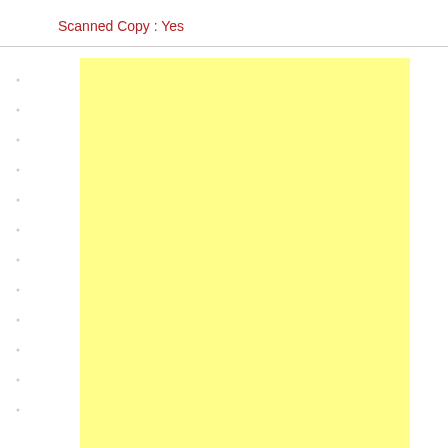Scanned Copy : Yes
[Figure (other): Large yellow rectangle filling most of the page area, representing a scanned document placeholder.]